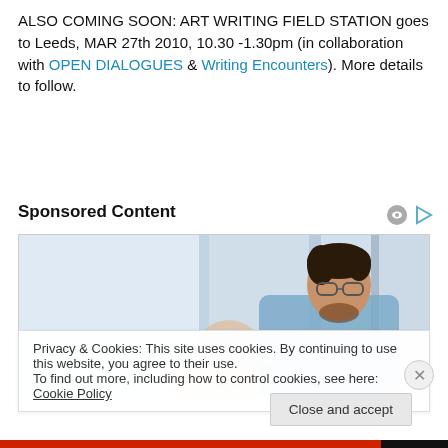ALSO COMING SOON: ART WRITING FIELD STATION goes to Leeds, MAR 27th 2010, 10.30 -1.30pm (in collaboration with OPEN DIALOGUES & Writing Encounters). More details to follow.
Sponsored Content
[Figure (photo): Two people in an office or workplace setting; one person with glasses and beard in a blue shirt, another person partially visible in the foreground.]
Privacy & Cookies: This site uses cookies. By continuing to use this website, you agree to their use.
To find out more, including how to control cookies, see here: Cookie Policy
Close and accept